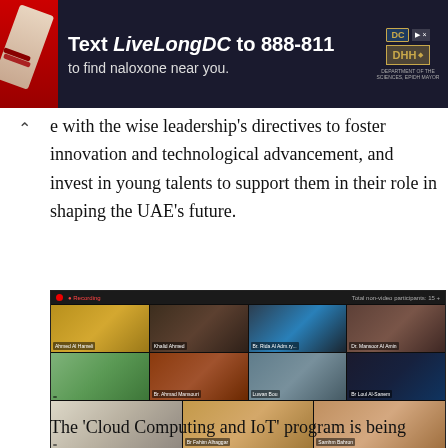[Figure (screenshot): Advertisement banner: 'Text LiveLongDC to 888-811 to find naloxone near you.' with DC Health and DHH logos]
e with the wise leadership's directives to foster innovation and technological advancement, and invest in young talents to support them in their role in shaping the UAE's future.
[Figure (photo): Video conference screenshot showing 11 participants in a grid layout, appearing to be a virtual meeting with officials in UAE traditional attire and others in formal wear. Header shows recording indicator and 'Total non-video participants: 15+'.]
The 'Cloud Computing and IoT' program is being